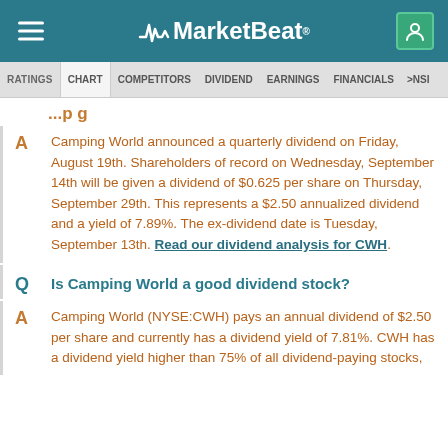MarketBeat
RATINGS  CHART  COMPETITORS  DIVIDEND  EARNINGS  FINANCIALS  >NSI
Camping World announced a quarterly dividend on Friday, August 19th. Shareholders of record on Wednesday, September 14th will be given a dividend of $0.625 per share on Thursday, September 29th. This represents a $2.50 annualized dividend and a yield of 7.89%. The ex-dividend date is Tuesday, September 13th. Read our dividend analysis for CWH.
Is Camping World a good dividend stock?
Camping World (NYSE:CWH) pays an annual dividend of $2.50 per share and currently has a dividend yield of 7.81%. CWH has a dividend yield higher than 75% of all dividend-paying stocks,